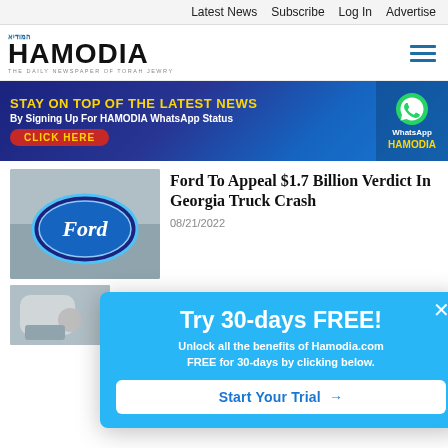Latest News  Subscribe  Log In  Advertise
[Figure (logo): Hamodia newspaper logo with Hebrew text and tagline 'THE DAILY NEWSPAPER OF TORAH JEWRY']
[Figure (infographic): Banner ad: STAY ON TOP OF THE LATEST NEWS By Signing Up For HAMODIA WhatsApp Status CLICK HERE, with WhatsApp icon and HAMODIA text]
[Figure (photo): Ford logo oval blue badge on building exterior]
Ford To Appeal $1.7 Billion Verdict In Georgia Truck Crash
08/21/2022
[Figure (photo): Partial photo, lower article thumbnail, person in car]
[Figure (infographic): Popup overlay: Try 30-days FREE! Unlock all the benefits of Hamodia.com FREE for 30-days by clicking below. Start Your Trial →]